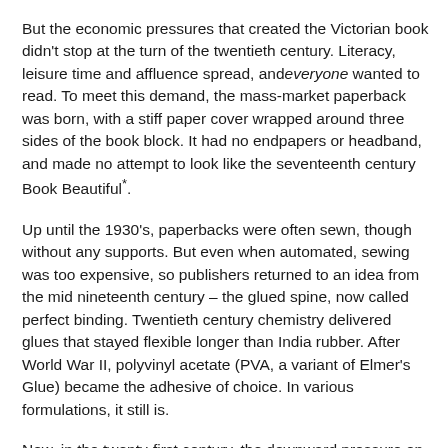But the economic pressures that created the Victorian book didn't stop at the turn of the twentieth century. Literacy, leisure time and affluence spread, and everyone wanted to read. To meet this demand, the mass-market paperback was born, with a stiff paper cover wrapped around three sides of the book block. It had no endpapers or headband, and made no attempt to look like the seventeenth century Book Beautiful*.
Up until the 1930's, paperbacks were often sewn, though without any supports. But even when automated, sewing was too expensive, so publishers returned to an idea from the mid nineteenth century – the glued spine, now called perfect binding. Twentieth century chemistry delivered glues that stayed flexible longer than India rubber. After World War II, polyvinyl acetate (PVA, a variant of Elmer's Glue) became the adhesive of choice. In various formulations, it still is.
Now, in the twenty-first century, the downward pressure on book prices still continues. Its current effect is not on the mass-market paperback, which is already as inexpensive as it can be, but on the hardcover book. Until the late twentieth century, hardbacks were